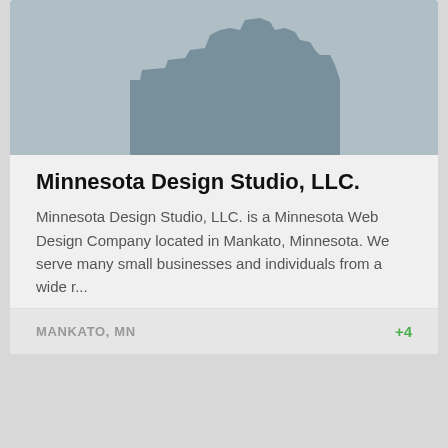[Figure (map): Minnesota state outline silhouette image - top portion cropped, showing upper part of the state map]
Minnesota Design Studio, LLC.
Minnesota Design Studio, LLC. is a Minnesota Web Design Company located in Mankato, Minnesota. We serve many small businesses and individuals from a wide r...
MANKATO, MN
+4
[Figure (map): Minnesota state outline silhouette image - full state map shape visible against light blue-gray background]